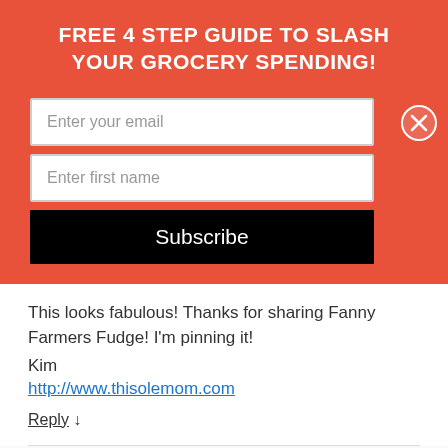FREE 4 STEP GUIDE TO SLASH YOUR GROCERY SPENDING!
[Figure (screenshot): Email subscription form with 'Enter your email' and 'Enter first name' input fields and a black Subscribe button on an orange/red background, with an X close button.]
This looks fabulous! Thanks for sharing Fanny Farmers Fudge! I'm pinning it!
Kim
http://www.thisolemom.com
Reply ↓
Deanna Michaels Post author December 16, 2013 at 2:30 pm